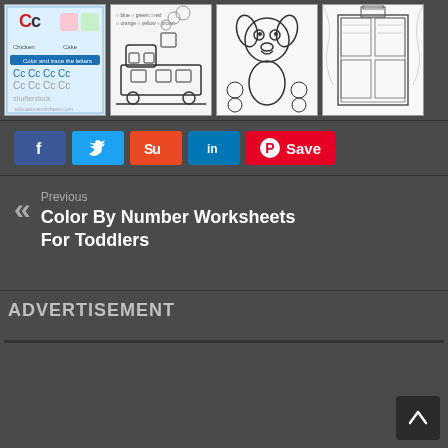[Figure (screenshot): Row of four coloring/worksheet thumbnail images: letter C worksheet, train coloring page, puppy coloring page, and a detailed ornate box coloring page]
[Figure (screenshot): Social sharing buttons: Facebook (blue), Twitter (light blue), StumbleUpon (orange), LinkedIn (blue), Pinterest Save (red)]
Previous
Color By Number Worksheets For Toddlers
ADVERTISEMENT